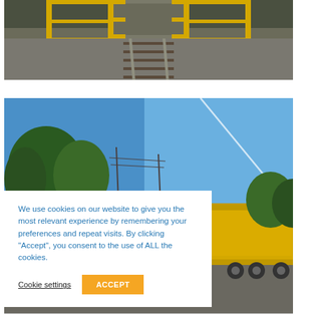[Figure (photo): Railroad crossing or industrial walkway with yellow safety railings over train tracks, gravel surface, viewed from straight-on perspective]
[Figure (photo): Outdoor scene with blue sky, trees, power lines, and yellow dump truck trailers parked on pavement]
We use cookies on our website to give you the most relevant experience by remembering your preferences and repeat visits. By clicking “Accept”, you consent to the use of ALL the cookies.
Cookie settings
ACCEPT